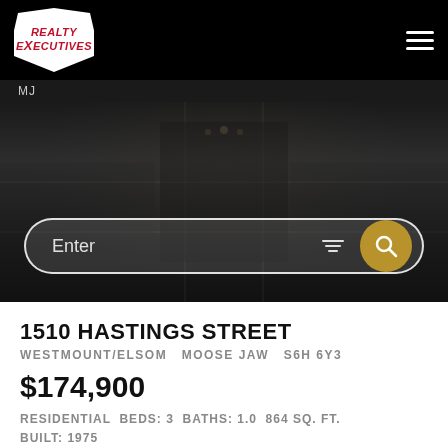[Figure (logo): Realty Executives shield logo with red italic text on white shield background, on black header bar with hamburger menu icon]
MJ
[Figure (photo): Dark-toned interior living room photo used as hero banner background, with white rounded search bar overlay containing 'Enter' placeholder text, filter icon, and gold circular search button]
1510 HASTINGS STREET
WESTMOUNT/ELSOM   MOOSE JAW   S6H 6Y3
$174,900
RESIDENTIAL  BEDS: 3  BATHS: 1.0  864 SQ. FT.
BUILT: 1975